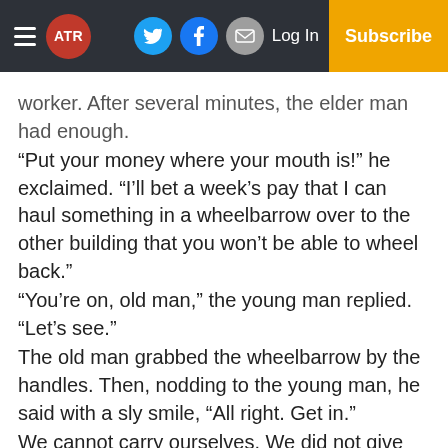ATR — Log In — Subscribe (navigation bar with social icons)
worker. After several minutes, the elder man had enough. “Put your money where your mouth is!” he exclaimed. “I’ll bet a week’s pay that I can haul something in a wheelbarrow over to the other building that you won’t be able to wheel back.” “You’re on, old man,” the young man replied. “Let’s see.” The old man grabbed the wheelbarrow by the handles. Then, nodding to the young man, he said with a sly smile, “All right. Get in.” We cannot carry ourselves. We did not give ourselves life. We cannot sustain life on our own.